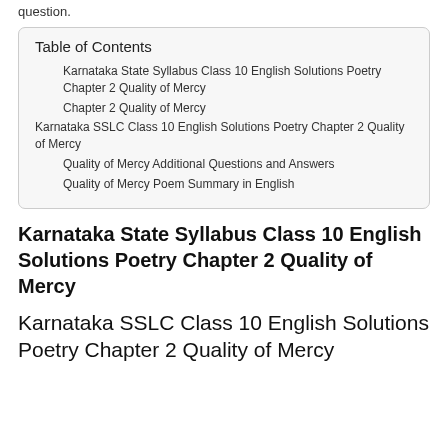question.
| Table of Contents |
| --- |
| Karnataka State Syllabus Class 10 English Solutions Poetry Chapter 2 Quality of Mercy |
| Karnataka SSLC Class 10 English Solutions Poetry Chapter 2 Quality of Mercy |
| Quality of Mercy Additional Questions and Answers |
| Quality of Mercy Poem Summary in English |
Karnataka State Syllabus Class 10 English Solutions Poetry Chapter 2 Quality of Mercy
Karnataka SSLC Class 10 English Solutions Poetry Chapter 2 Quality of Mercy